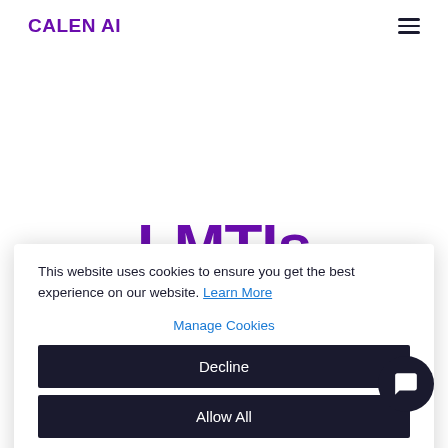CALEN AI
LMTIs
This website uses cookies to ensure you get the best experience on our website. Learn More
Manage Cookies
Decline
Allow All
×
Save up to 4 hours a week on